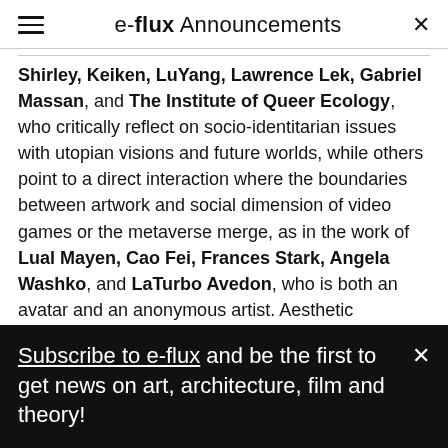e-flux Announcements
Shirley, Keiken, LuYang, Lawrence Lek, Gabriel Massan, and The Institute of Queer Ecology, who critically reflect on socio-identitarian issues with utopian visions and future worlds, while others point to a direct interaction where the boundaries between artwork and social dimension of video games or the metaverse merge, as in the work of Lual Mayen, Cao Fei, Frances Stark, Angela Washko, and LaTurbo Avedon, who is both an avatar and an anonymous artist. Aesthetic components that come directly from the world of game programming, including 3-D and VR, will find a
Subscribe to e-flux and be the first to get news on art, architecture, film and theory!